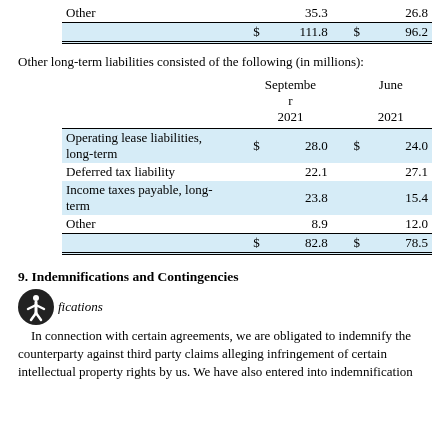|  | $ |  | $ |  |
| --- | --- | --- | --- | --- |
| Other |  | 35.3 |  | 26.8 |
|  | $ | 111.8 | $ | 96.2 |
Other long-term liabilities consisted of the following (in millions):
|  | September 2021 |  | June 2021 |  |
| --- | --- | --- | --- | --- |
| Operating lease liabilities, long-term | $ | 28.0 | $ | 24.0 |
| Deferred tax liability |  | 22.1 |  | 27.1 |
| Income taxes payable, long-term |  | 23.8 |  | 15.4 |
| Other |  | 8.9 |  | 12.0 |
|  | $ | 82.8 | $ | 78.5 |
9. Indemnifications and Contingencies
fications
In connection with certain agreements, we are obligated to indemnify the counterparty against third party claims alleging infringement of certain intellectual property rights by us. We have also entered into indemnification